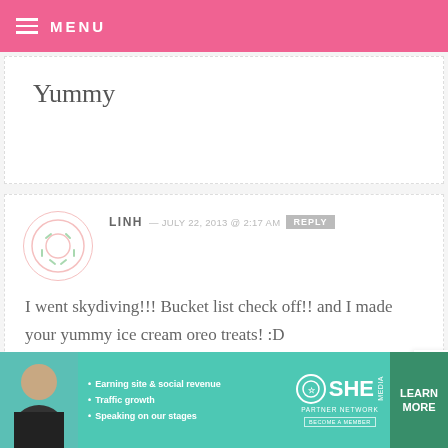MENU
Yummy
LINH — JULY 22, 2013 @ 2:17 AM  REPLY
I went skydiving!!! Bucket list check off!! and I made your yummy ice cream oreo treats! :D
SARAH D — JULY 22, 2013 @ 2:17 AM  REPLY
[Figure (infographic): Advertisement banner for SHE Partner Network with bullets: Earning site & social revenue, Traffic growth, Speaking on our stages. Green Learn More button.]